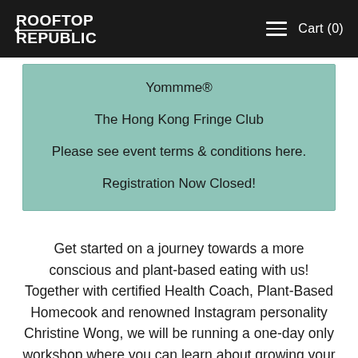Rooftop Republic  Cart (0)
Yommme®

The Hong Kong Fringe Club

Please see event terms & conditions here.

Registration Now Closed!
Get started on a journey towards a more conscious and plant-based eating with us! Together with certified Health Coach, Plant-Based Homecook and renowned Instagram personality Christine Wong, we will be running a one-day only workshop where you can learn about growing your own food, and learning